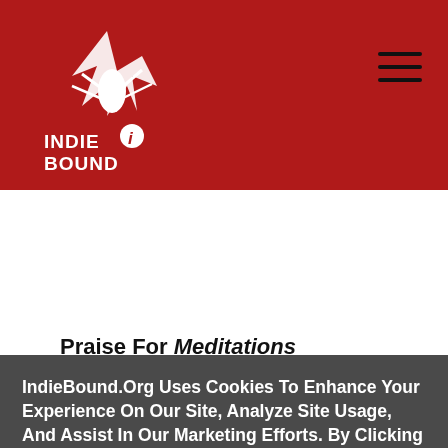[Figure (logo): IndieBound logo — white bird/wings graphic with INDIE BOUND text below, on red background]
[Figure (other): Hamburger menu icon (three horizontal black lines) in top-right corner of red header]
Praise For Meditations (Penguin Great
IndieBound.Org Uses Cookies To Enhance Your Experience On Our Site, Analyze Site Usage, And Assist In Our Marketing Efforts. By Clicking Accept, You Agree To The Storing Of Cookies On Your Device. View Our Cookie Policy.
Give me more info
Accept all Cookies